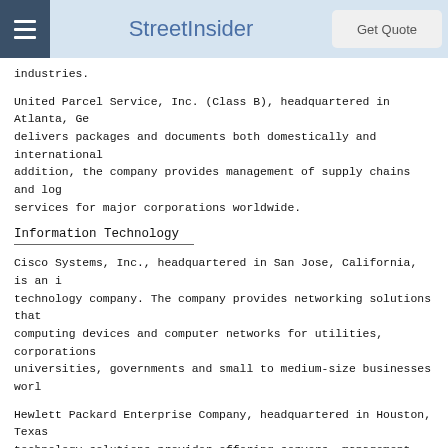StreetInsider | Get Quote
industries.
United Parcel Service, Inc. (Class B), headquartered in Atlanta, Ge delivers packages and documents both domestically and international addition, the company provides management of supply chains and log services for major corporations worldwide.
Information Technology
Cisco Systems, Inc., headquartered in San Jose, California, is an technology company. The company provides networking solutions that computing devices and computer networks for utilities, corporations universities, governments and small to medium-size businesses worl
Hewlett Packard Enterprise Company, headquartered in Houston, Texa technology solutions provider offering servers, management software solutions and networking products to business enterprises. The com offers consultation, outsourcing and support services.
HP Inc., headquartered in Palo Alto, California, provides products technologies, software, solutions and services to individual consum businesses worldwide. The company offers access devices, mobile de personal computers, workstations, laser and inkjet printers, scan